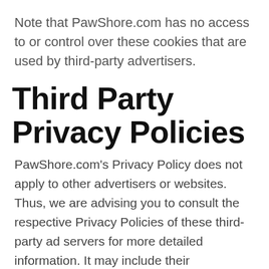Note that PawShore.com has no access to or control over these cookies that are used by third-party advertisers.
Third Party Privacy Policies
PawShore.com's Privacy Policy does not apply to other advertisers or websites. Thus, we are advising you to consult the respective Privacy Policies of these third-party ad servers for more detailed information. It may include their